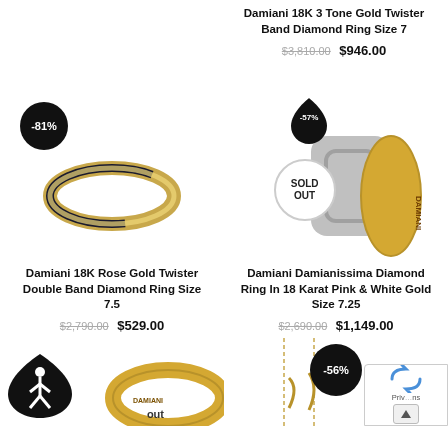Damiani 18K 3 Tone Gold Twister Band Diamond Ring Size 7
$3,810.00 $946.00
[Figure (photo): Damiani gold ring with black enamel band showing DAMIANI text, -81% discount badge]
Damiani 18K Rose Gold Twister Double Band Diamond Ring Size 7.5
$2,790.00 $529.00
[Figure (photo): Damiani Damianissima ring in pink and white gold, -57% badge, SOLD OUT overlay]
Damiani Damianissima Diamond Ring In 18 Karat Pink & White Gold Size 7.25
$2,690.00 $1,149.00
[Figure (photo): Partial view of gold ring at bottom left, -56% badge on right side, accessibility icon]
-56%